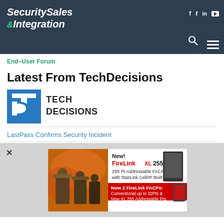Security Sales & Integration
End-User Forum
Latest From TechDecisions
[Figure (logo): TechDecisions logo: blue square with white 'TD' letters, followed by bold text 'TECH DECISIONS']
LastPass Confirms Security Incident
[Figure (infographic): Advertisement banner for FireLink XL 255 FACP: shows firefighters on left, product image on right. Text: New! FireLink XL 255 FACP, 255 Pt Addressable FACP with StarLink Cell/IP Built in. Now 2 FireLink FACPs: Conventional up to 32Pts & New XL 255 Addressable Pts.]